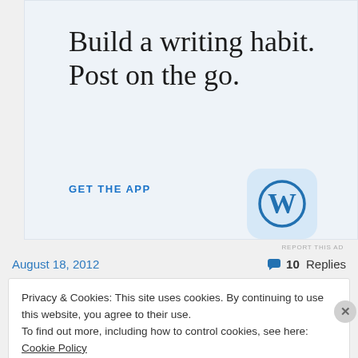[Figure (infographic): WordPress app advertisement banner with light blue background. Large serif text reads 'Build a writing habit. Post on the go.' Below is a blue 'GET THE APP' call-to-action link. A WordPress app icon (blue W logo on light blue rounded square) appears on the right.]
REPORT THIS AD
August 18, 2012
10 Replies
Privacy & Cookies: This site uses cookies. By continuing to use this website, you agree to their use.
To find out more, including how to control cookies, see here: Cookie Policy
Close and accept